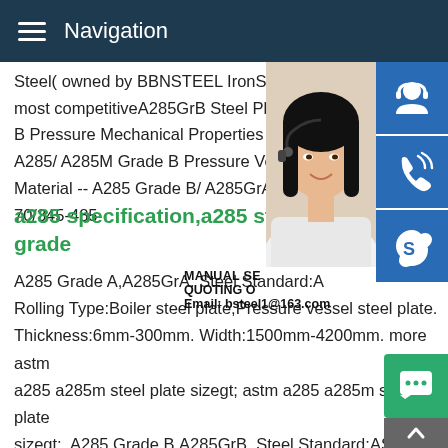Navigation
Steel( owned by BBNSTEEL IronSteel (Gr most competitiveA285GrB Steel Plate,AS B Pressure Mechanical Properties for A28 A285/ A285M Grade B Pressure Vessel S Material -- A285 Grade B/ A285GrA Tensil 70/345-485
a285 specification,a285 steel grade
A285 Grade A,A285GrA. Steel Standard:A Rolling Type:Boiler steel plate,Pressure vessel steel plate. Thickness:6mm-300mm. Width:1500mm-4200mm. more astm a285 a285m steel plate sizegt; astm a285 a285m steel plate sizegt;. A285 Grade B,A285GrB. Steel Standard:ASTM A285/A285M. Rolling Type:Boiler steel plate,Pressure vessel s plate.ASTM A285/ A285M Pressure Vessel Steel-TJC SteelAS